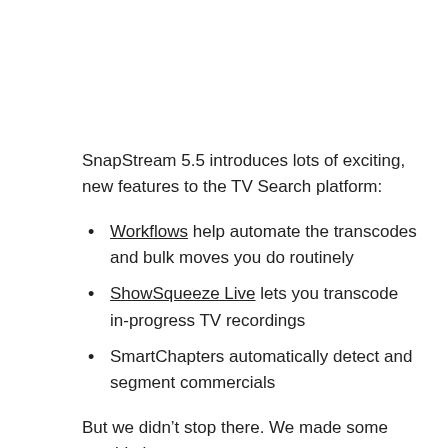SnapStream 5.5 introduces lots of exciting, new features to the TV Search platform:
Workflows help automate the transcodes and bulk moves you do routinely
ShowSqueeze Live lets you transcode in-progress TV recordings
SmartChapters automatically detect and segment commercials
But we didn’t stop there. We made some notable improvements, too: